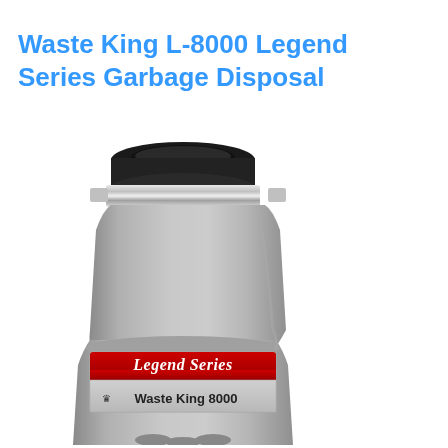Waste King L-8000 Legend Series Garbage Disposal
[Figure (photo): Photo of a Waste King L-8000 Legend Series garbage disposal unit, silver/grey body with a black top mounting ring, chrome mounting collar, and a red and silver label reading 'Legend Series Waste King 8000']